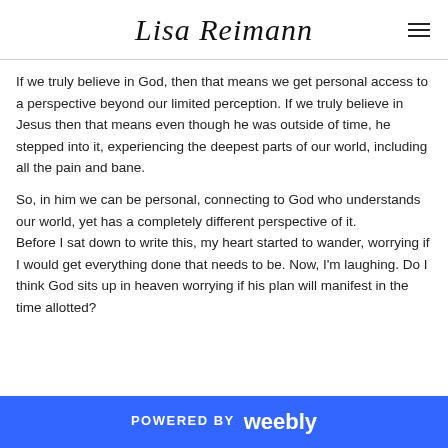Lisa Reimann
If we truly believe in God, then that means we get personal access to a perspective beyond our limited perception. If we truly believe in Jesus then that means even though he was outside of time, he stepped into it, experiencing the deepest parts of our world, including all the pain and bane.
So, in him we can be personal, connecting to God who understands our world, yet has a completely different perspective of it.
Before I sat down to write this, my heart started to wander, worrying if I would get everything done that needs to be. Now, I'm laughing. Do I think God sits up in heaven worrying if his plan will manifest in the time allotted?
POWERED BY weebly